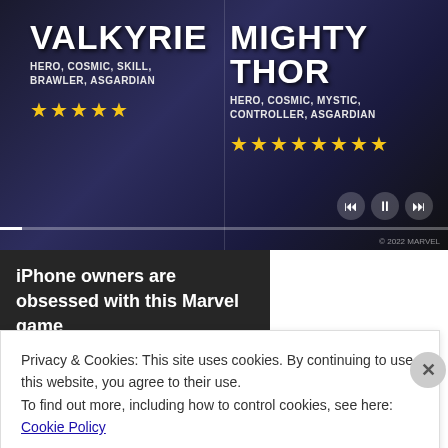[Figure (screenshot): Advertisement for a Marvel game showing two characters: Valkyrie (Hero, Cosmic, Skill, Brawler, Asgardian) and Mighty Thor (Hero, Cosmic, Mystic, Controller, Asgardian), each with yellow star ratings below, with media playback controls at bottom right.]
iPhone owners are obsessed with this Marvel game
[Figure (photo): Photo of three people - appears to be the Obama family (Michelle, Malia/Sasha, Barack Obama) smiling together outdoors.]
[Pics] Obama's $8.1M Mansion Looks Like This
BuzzAura
Privacy & Cookies: This site uses cookies. By continuing to use this website, you agree to their use.
To find out more, including how to control cookies, see here: Cookie Policy
Close and accept